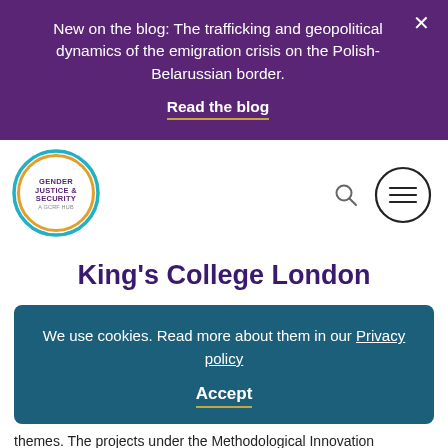New on the blog: The trafficking and geopolitical dynamics of the emigration crisis on the Polish-Belarussian border.
Read the blog
[Figure (logo): Gender Justice & Security A GCRF Hub circular logo with blue, yellow and teal ring]
King's College London
We use cookies. Read more about them in our Privacy policy
Accept
themes. The projects under the Methodological Innovation